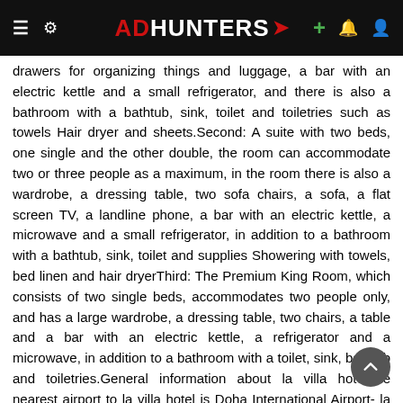ADHUNTERS
drawers for organizing things and luggage, a bar with an electric kettle and a small refrigerator, and there is also a bathroom with a bathtub, sink, toilet and toiletries such as towels Hair dryer and sheets.Second: A suite with two beds, one single and the other double, the room can accommodate two or three people as a maximum, in the room there is also a wardrobe, a dressing table, two sofa chairs, a sofa, a flat screen TV, a landline phone, a bar with an electric kettle, a microwave and a small refrigerator, in addition to a bathroom with a bathtub, sink, toilet and supplies Showering with towels, bed linen and hair dryerThird: The Premium King Room, which consists of two single beds, accommodates two people only, and has a large wardrobe, a dressing table, two chairs, a table and a bar with an electric kettle, a refrigerator and a microwave, in addition to a bathroom with a toilet, sink, bathtub and toiletries.General information about la villa hotelThe nearest airport to la villa hotel is Doha International Airport- la villa hotel serves breakfast to its guests as an open buffet- The room rate per night includes breakfast for guests- Those wishing to cancel their reservation can be free of charge without having to pay any fees in the event that any change prevents the person from staying at the la villa hotella